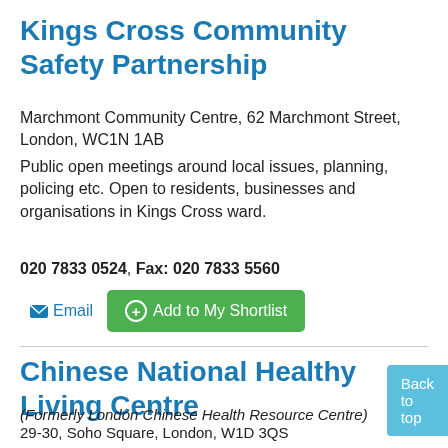Kings Cross Community Safety Partnership
Marchmont Community Centre, 62 Marchmont Street, London, WC1N 1AB
Public open meetings around local issues, planning, policing etc. Open to residents, businesses and organisations in Kings Cross ward.
020 7833 0524, Fax: 020 7833 5560
Email  Add to My Shortlist
Chinese National Healthy Living Centre
(Formerly London Chinese Health Resource Centre)
29-30, Soho Square, London, W1D 3QS
Multilingual helpline for Chinese people on h... matters; disability and carers support; intern...